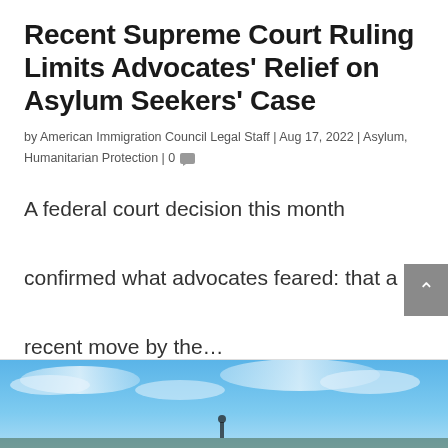Recent Supreme Court Ruling Limits Advocates' Relief on Asylum Seekers' Case
by American Immigration Council Legal Staff | Aug 17, 2022 | Asylum, Humanitarian Protection | 0
A federal court decision this month confirmed what advocates feared: that a recent move by the…
READ MORE
[Figure (photo): Sky and landscape photo at bottom of page]